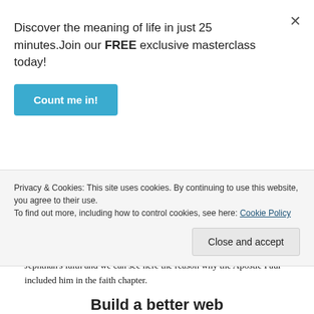Discover the meaning of life in just 25 minutes.Join our FREE exclusive masterclass today!
Count me in!
God's commandments.
We can see that Jephthah used his eyes of faith to capture the vision of a better hope of God's promises which is GREATER than all what he had hoped for during his physical life. This is the true testimony of Jephthah's faith and we can see here the reason why the Apostle Paul included him in the faith chapter.
Privacy & Cookies: This site uses cookies. By continuing to use this website, you agree to their use.
To find out more, including how to control cookies, see here: Cookie Policy
Close and accept
Build a better web